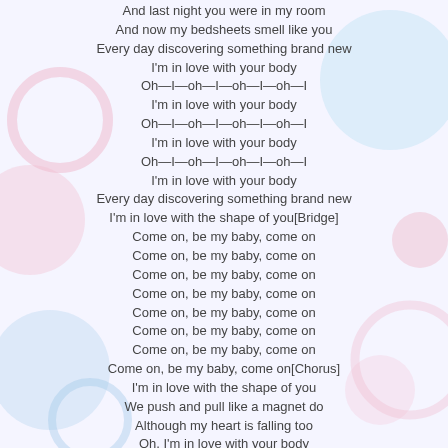And last night you were in my room
And now my bedsheets smell like you
Every day discovering something brand new
I'm in love with your body
Oh—I—oh—I—oh—I—oh—I
I'm in love with your body
Oh—I—oh—I—oh—I—oh—I
I'm in love with your body
Oh—I—oh—I—oh—I—oh—I
I'm in love with your body
Every day discovering something brand new
I'm in love with the shape of you[Bridge]
Come on, be my baby, come on
Come on, be my baby, come on
Come on, be my baby, come on
Come on, be my baby, come on
Come on, be my baby, come on
Come on, be my baby, come on
Come on, be my baby, come on
Come on, be my baby, come on[Chorus]
I'm in love with the shape of you
We push and pull like a magnet do
Although my heart is falling too
Oh, I'm in love with your body